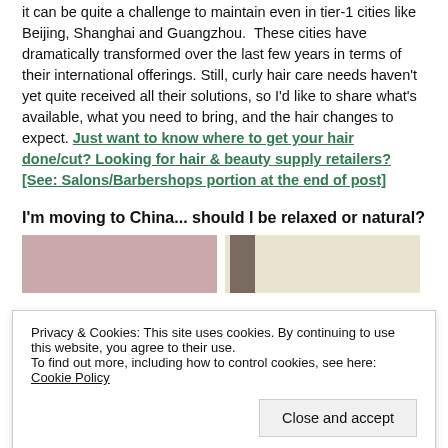it can be quite a challenge to maintain even in tier-1 cities like Beijing, Shanghai and Guangzhou. These cities have dramatically transformed over the last few years in terms of their international offerings. Still, curly hair care needs haven't yet quite received all their solutions, so I'd like to share what's available, what you need to bring, and the hair changes to expect. Just want to know where to get your hair done/cut? Looking for hair & beauty supply retailers? [See: Salons/Barbershops portion at the end of post]
I'm moving to China... should I be relaxed or natural?
[Figure (photo): Two photos side by side, partially visible, appearing to show people with natural/curly hair.]
Privacy & Cookies: This site uses cookies. By continuing to use this website, you agree to their use. To find out more, including how to control cookies, see here: Cookie Policy